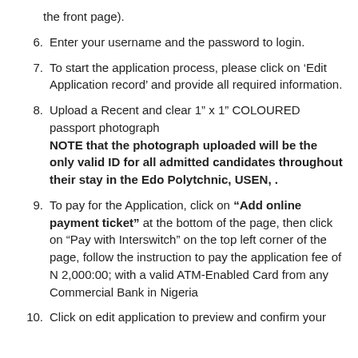the front page).
6. Enter your username and the password to login.
7. To start the application process, please click on ‘Edit Application record’ and provide all required information.
8. Upload a Recent and clear 1” x 1” COLOURED passport photograph NOTE that the photograph uploaded will be the only valid ID for all admitted candidates throughout their stay in the Edo Polytchnic, USEN, .
9. To pay for the Application, click on “Add online payment ticket” at the bottom of the page, then click on “Pay with Interswitch” on the top left corner of the page, follow the instruction to pay the application fee of N 2,000:00; with a valid ATM-Enabled Card from any Commercial Bank in Nigeria
10. Click on edit application to preview and confirm your